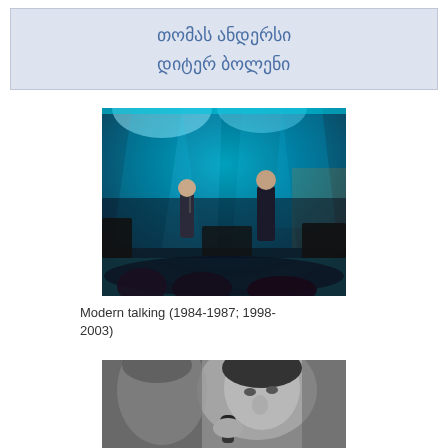თომას ანდერსი
დიტერ ბოლენი
[Figure (photo): Concert photo of Modern Talking on stage with blue lights and two performers]
Modern talking (1984-1987; 1998-2003)
[Figure (photo): Black and white photo of a man holding a microphone]